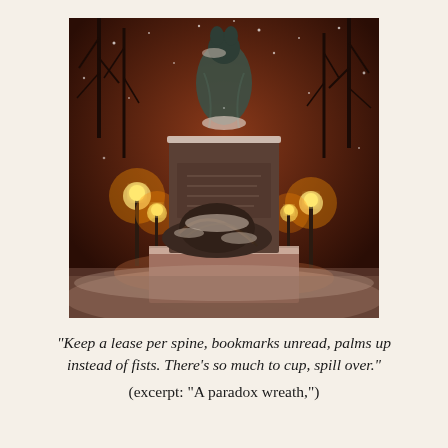[Figure (photo): Nighttime winter photograph of a bronze statue on a tall pedestal in a snow-covered park. The statue depicts a robed figure at the top with additional sculptural figures at its base. Glowing street lamps and bare trees are visible in the background. Snow covers the base and surrounding ground.]
"Keep a lease per spine, bookmarks unread, palms up instead of fists. There's so much to cup, spill over." (excerpt: "A paradox wreath,")